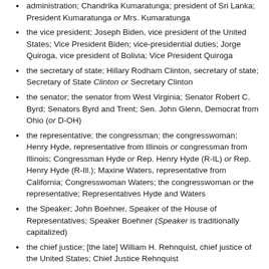administration; Chandrika Kumaratunga; president of Sri Lanka; President Kumaratunga or Mrs. Kumaratunga
the vice president; Joseph Biden, vice president of the United States; Vice President Biden; vice-presidential duties; Jorge Quiroga, vice president of Bolivia; Vice President Quiroga
the secretary of state; Hillary Rodham Clinton, secretary of state; Secretary of State Clinton or Secretary Clinton
the senator; the senator from West Virginia; Senator Robert C. Byrd; Senators Byrd and Trent; Sen. John Glenn, Democrat from Ohio (or D-OH)
the representative; the congressman; the congresswoman; Henry Hyde, representative from Illinois or congressman from Illinois; Congressman Hyde or Rep. Henry Hyde (R-IL) or Rep. Henry Hyde (R-Ill.); Maxine Waters, representative from California; Congresswoman Waters; the congresswoman or the representative; Representatives Hyde and Waters
the Speaker; John Boehner, Speaker of the House of Representatives; Speaker Boehner (Speaker is traditionally capitalized)
the chief justice; [the late] William H. Rehnquist, chief justice of the United States; Chief Justice Rehnquist
the associate justice; Antonin Kennedy, associate justice;